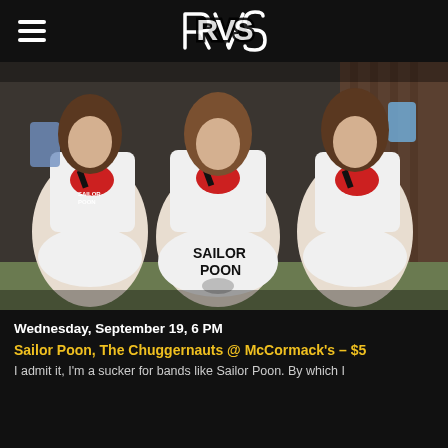RVS (logo)
[Figure (photo): Three young women wearing matching white t-shirts with Sailor Poon band artwork and white underwear/briefs, one facing away showing 'Sailor Poon' text on underwear, holding items, standing against a wooden fence outdoors.]
Wednesday, September 19, 6 PM
Sailor Poon, The Chuggernauts @ McCormack's – $5
I admit it, I'm a sucker for bands like Sailor Poon. By which I